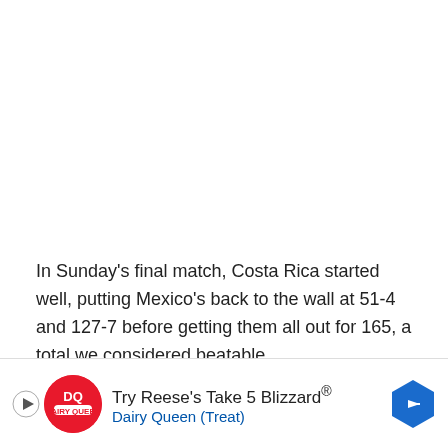In Sunday's final match, Costa Rica started well, putting Mexico's back to the wall at 51-4 and 127-7 before getting them all out for 165, a total we considered beatable.
Chris Prasad bowled best before injuring himself, captain David Crisp ca... and Denilo Faste... wick well, ag... nd the ...
[Figure (other): Dairy Queen advertisement banner: Try Reese's Take 5 Blizzard® with DQ logo and navigation arrow]